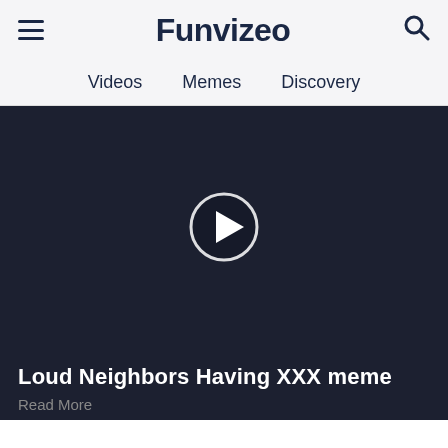Funvizeo
Videos
Memes
Discovery
[Figure (screenshot): Dark video player area with a circular play button in the center on a dark navy/charcoal background]
Loud Neighbors Having XXX meme
Read More